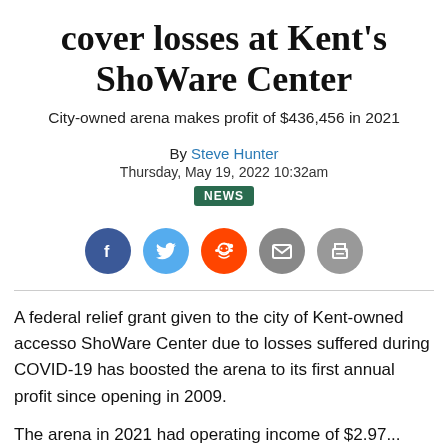cover losses at Kent's ShoWare Center
City-owned arena makes profit of $436,456 in 2021
By Steve Hunter
Thursday, May 19, 2022 10:32am
NEWS
[Figure (infographic): Social sharing buttons: Facebook, Twitter, Reddit, Email, Print]
A federal relief grant given to the city of Kent-owned accesso ShoWare Center due to losses suffered during COVID-19 has boosted the arena to its first annual profit since opening in 2009.
The arena in 2021 had operating income of $2.97...